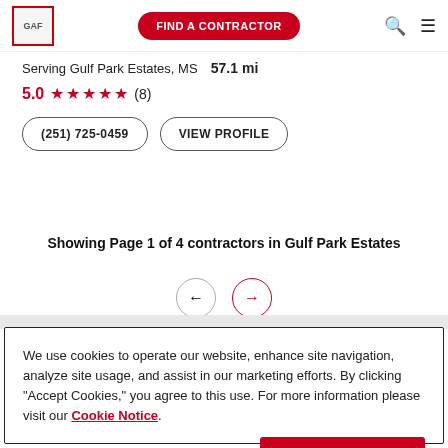GAF | FIND A CONTRACTOR
Serving Gulf Park Estates, MS  57.1 mi
5.0 ★★★★★ (8)
(251) 725-0459   VIEW PROFILE
Showing Page 1 of 4 contractors in Gulf Park Estates
We use cookies to operate our website, enhance site navigation, analyze site usage, and assist in our marketing efforts. By clicking "Accept Cookies," you agree to this use. For more information please visit our Cookie Notice.
Cookie Preferences   Accept Cookies